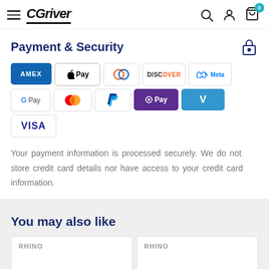CGriver — navigation header with search, account, and cart icons
Payment & Security
[Figure (other): Payment method icons: Amex, Apple Pay, Diners Club, Discover, Meta Pay, Google Pay, Mastercard, PayPal, OPay, Venmo, Visa]
Your payment information is processed securely. We do not store credit card details nor have access to your credit card information.
You may also like
RHINO
RHINO